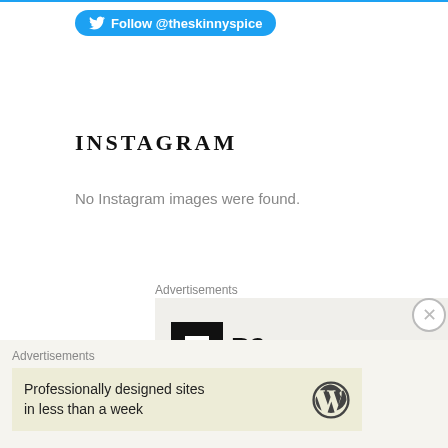[Figure (logo): Twitter Follow button with bird icon: Follow @theskinnyspice]
INSTAGRAM
No Instagram images were found.
Advertisements
[Figure (logo): P2 logo — black square with white hollow square icon, followed by bold text P2]
Advertisements
[Figure (logo): WordPress advertisement: Professionally designed sites in less than a week, with WordPress logo on right]